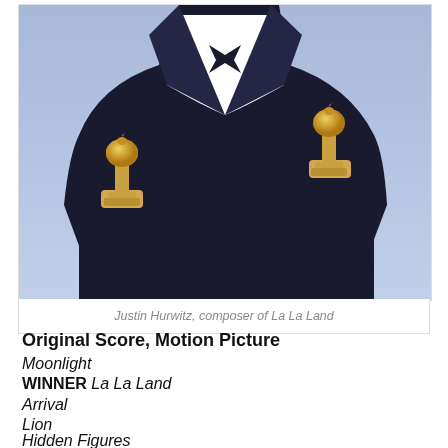[Figure (photo): Person in a dark tuxedo holding two Golden Globe trophies, one in each hand, against a blue background]
Justin Hurwitz, composer of La La Land
Original Score, Motion Picture
Moonlight
WINNER La La Land
Arrival
Lion
Hidden Figures